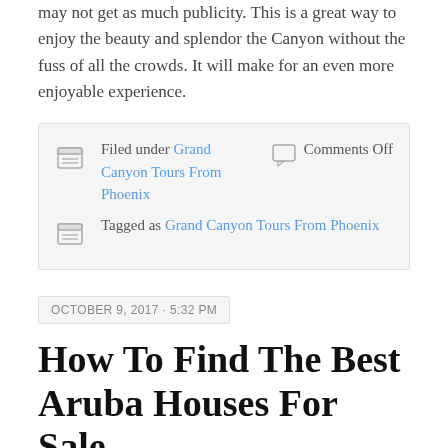may not get as much publicity. This is a great way to enjoy the beauty and splendor the Canyon without the fuss of all the crowds. It will make for an even more enjoyable experience.
Filed under Grand Canyon Tours From Phoenix   Comments Off
Tagged as Grand Canyon Tours From Phoenix
OCTOBER 9, 2017 · 5:32 PM
How To Find The Best Aruba Houses For Sale
If you had no concerns or worries in life, where